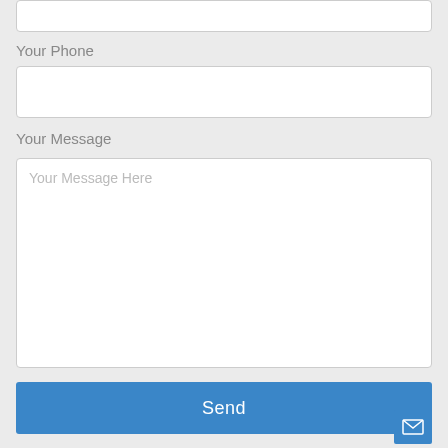[Figure (screenshot): Top portion of a contact form showing a partially visible text input field at the top (cropped)]
Your Phone
[Figure (screenshot): Empty text input field for phone number]
Your Message
[Figure (screenshot): Large textarea input with placeholder text 'Your Message Here']
Send
[Figure (other): Small blue envelope/mail icon button in the bottom right corner]